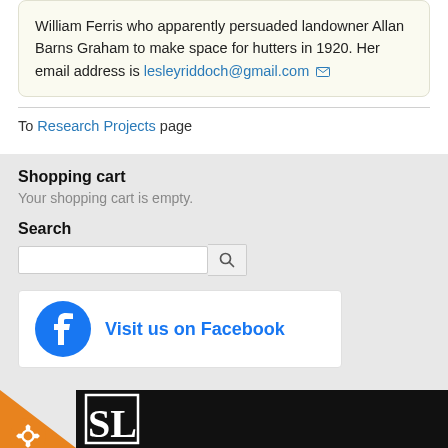William Ferris who apparently persuaded landowner Allan Barns Graham to make space for hutters in 1920. Her email address is lesleyriddoch@gmail.com
To Research Projects page
Shopping cart
Your shopping cart is empty.
Search
[Figure (screenshot): Facebook visit us banner with Facebook logo icon and text 'Visit us on Facebook']
[Figure (logo): SL logo on black background with orange triangle and gear badge in bottom left corner]